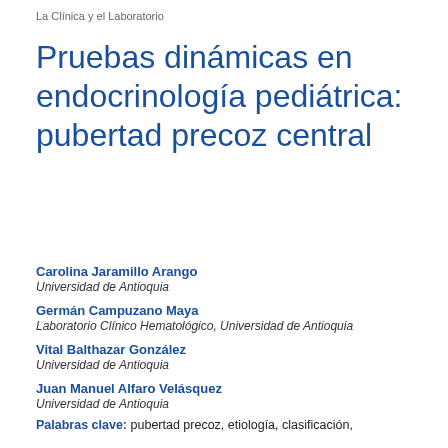La Clínica y el Laboratorio
Pruebas dinámicas en endocrinología pediátrica: pubertad precoz central
Carolina Jaramillo Arango
Universidad de Antioquia
Germán Campuzano Maya
Laboratorio Clínico Hematológico, Universidad de Antioquia
Vital Balthazar González
Universidad de Antioquia
Juan Manuel Alfaro Velásquez
Universidad de Antioquia
Palabras clave: pubertad precoz, etiología, clasificación,